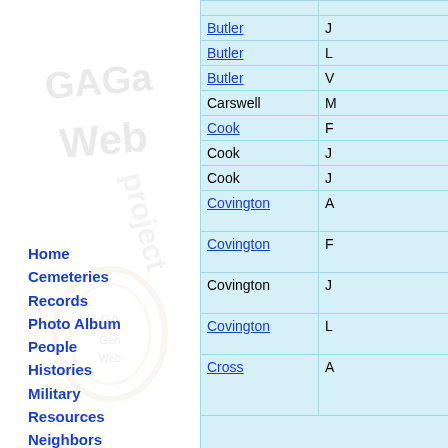[Figure (logo): GAGenWeb Project watermark logo in gray in left panel background]
Home
Cemeteries
Records
Photo Album
People
Histories
Military
Resources
Neighbors
Queries/Mail
USGenWeb
GaGenWeb
Archives
| County | Name |
| --- | --- |
| Butler | J… |
| Butler | L… |
| Butler | V… |
| Carswell | M… |
| Cook | F… |
| Cook | J… |
| Cook | J… |
| Covington | A… |
| Covington | F… |
| Covington | J… |
| Covington | L… |
| Cross | A… |